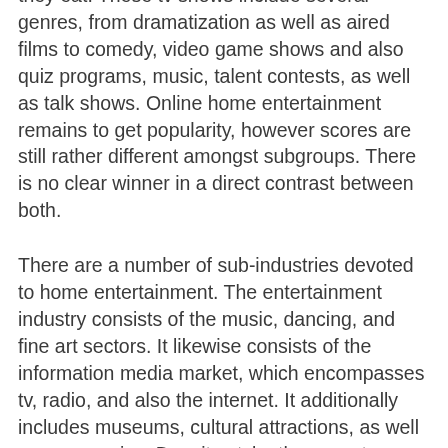they eat. These tv shows include several genres, from dramatization as well as aired films to comedy, video game shows and also quiz programs, music, talent contests, as well as talk shows. Online home entertainment remains to get popularity, however scores are still rather different amongst subgroups. There is no clear winner in a direct contrast between both.
There are a number of sub-industries devoted to home entertainment. The entertainment industry consists of the music, dancing, and fine art sectors. It likewise consists of the information media market, which encompasses tv, radio, and also the internet. It additionally includes museums, cultural attractions, as well as ceremonies. Despite style, these sectors